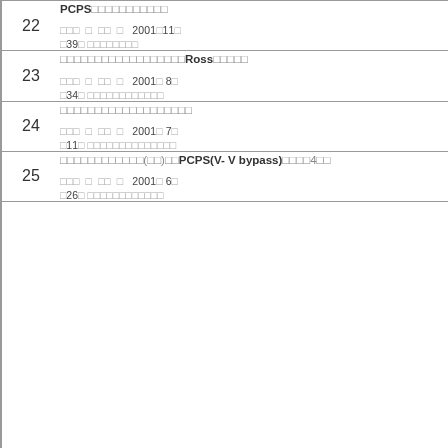| No. | Content |
| --- | --- |
| 22 | PCPS□□□□□□□□□□□
□□□ □ □□ □ 2001□11□
□39□ □□□□□□□□ |
| 23 | □□□□□□□□□□□□□□□□□□Ross□□□□□
□□□ □ □□ □ 2001□ 8□
□34□ □□□□□□□□□□□□ |
| 24 | □□□□□□□□□□□□□□□□□□□
□□□ □ □□ □ 2001□ 7□
□11□ □□□□□□□□□□□□□□ |
| 25 | □□□□□□□□□□□□(□□)□□PCPS(V- V bypass)□□□□4□□
□□□ □ □□ □ 2001□ 6□
□26□ □□□□□□□□□□□□ |